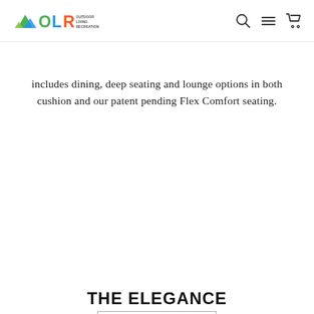OLR Outdoor Living Recreation — navigation bar with logo, search, menu, and cart icons
includes dining, deep seating and lounge options in both cushion and our patent pending Flex Comfort seating.
FIND OUT MORE
THE ELEGANCE